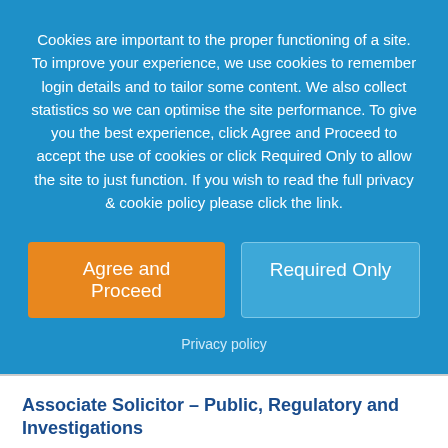Cookies are important to the proper functioning of a site. To improve your experience, we use cookies to remember login details and to tailor some content. We also collect statistics so we can optimise the site performance. To give you the best experience, click Agree and Proceed to accept the use of cookies or click Required Only to allow the site to just function. If you wish to read the full privacy & cookie policy please click the link.
Agree and Proceed
Required Only
Privacy policy
Associate Solicitor - Public, Regulatory and Investigations
Not Disclosed